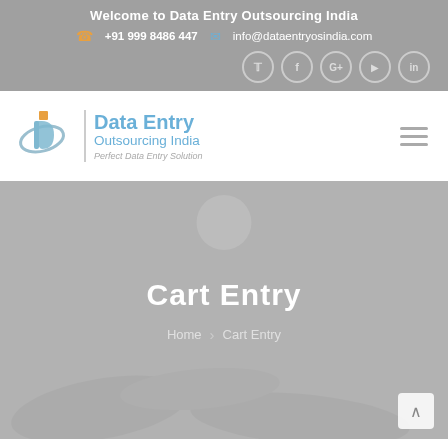Welcome to Data Entry Outsourcing India
+91 999 8486 447   info@dataentryosindia.com
[Figure (logo): Data Entry Outsourcing India logo with stylized 'd' icon, blue text reading 'Data Entry Outsourcing India' and tagline 'Perfect Data Entry Solution']
Cart Entry
Home > Cart Entry